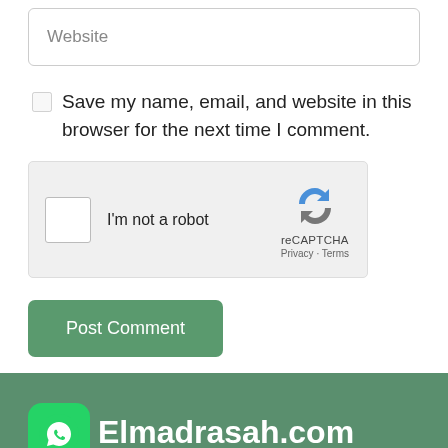Website
Save my name, email, and website in this browser for the next time I comment.
[Figure (screenshot): reCAPTCHA widget with checkbox 'I'm not a robot' and reCAPTCHA logo with Privacy and Terms links]
Post Comment
Elmadrasah.com
Elmadrasah.com is the first online school specialised in